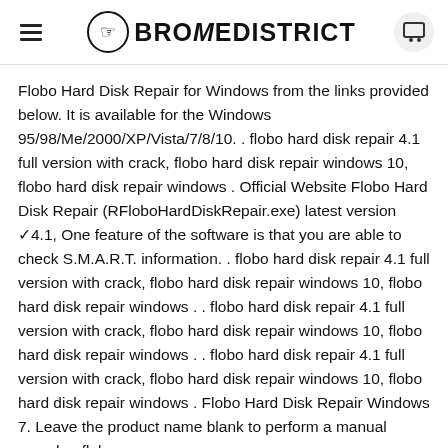BROMEDISTRICT
Flobo Hard Disk Repair for Windows from the links provided below. It is available for the Windows 95/98/Me/2000/XP/Vista/7/8/10. . flobo hard disk repair 4.1 full version with crack, flobo hard disk repair windows 10, flobo hard disk repair windows . Official Website Flobo Hard Disk Repair (RFloboHardDiskRepair.exe) latest version ✓4.1, One feature of the software is that you are able to check S.M.A.R.T. information. . flobo hard disk repair 4.1 full version with crack, flobo hard disk repair windows 10, flobo hard disk repair windows . . flobo hard disk repair 4.1 full version with crack, flobo hard disk repair windows 10, flobo hard disk repair windows . . flobo hard disk repair 4.1 full version with crack, flobo hard disk repair windows 10, flobo hard disk repair windows . Flobo Hard Disk Repair Windows 7. Leave the product name blank to perform a manual search. . flobo